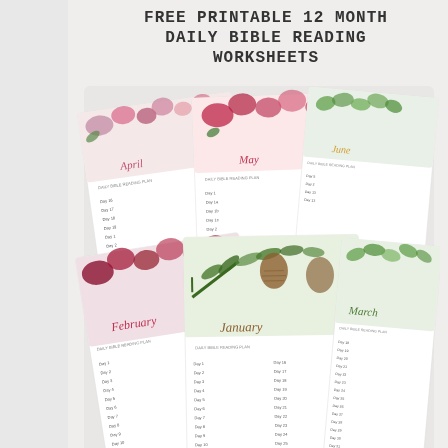FREE PRINTABLE 12 MONTH DAILY BIBLE READING WORKSHEETS
[Figure (illustration): A fan of colorful floral-decorated monthly Bible reading plan worksheets spread out, showing months April, May, June, February, January, March with day-by-day reading lists. URL gracefullyhome.com shown at bottom.]
SEV
H
ir
Name
Email